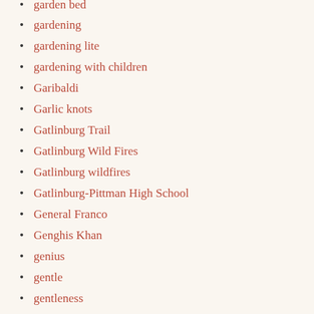garden bed
gardening
gardening lite
gardening with children
Garibaldi
Garlic knots
Gatlinburg Trail
Gatlinburg Wild Fires
Gatlinburg wildfires
Gatlinburg-Pittman High School
General Franco
Genghis Khan
genius
gentle
gentleness
geography
geography curriculum